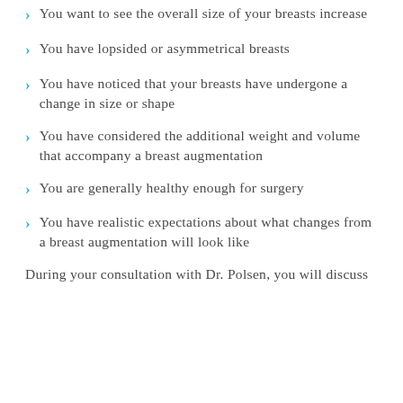You want to see the overall size of your breasts increase
You have lopsided or asymmetrical breasts
You have noticed that your breasts have undergone a change in size or shape
You have considered the additional weight and volume that accompany a breast augmentation
You are generally healthy enough for surgery
You have realistic expectations about what changes from a breast augmentation will look like
During your consultation with Dr. Polsen, you will discuss